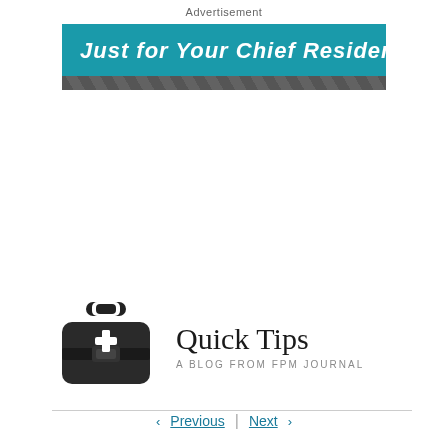Advertisement
[Figure (illustration): Banner reading 'Just for Your Chief Residents' in bold italic white text on teal background with dark geometric pattern strip below]
[Figure (logo): Medical bag / first aid kit icon in dark gray/black]
Quick Tips
A BLOG FROM FPM JOURNAL
‹ Previous | Next ›